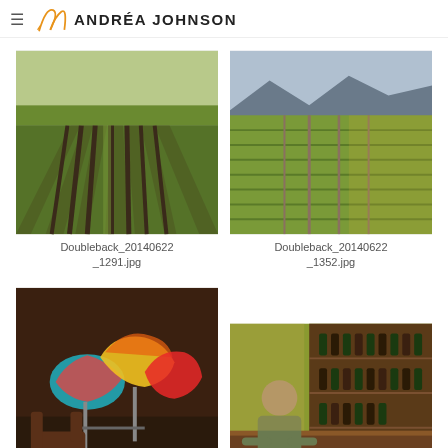ANDRÉA JOHNSON
[Figure (photo): Vineyard rows with lush green foliage, perspective shot down center row]
Doubleback_20140622_1291.jpg
[Figure (photo): Wide vineyard field with rows of vines, mountains in background, warm light]
Doubleback_20140622_1352.jpg
[Figure (photo): Colorful glass art sculptures (Chihuly-style) on stands in a dark warm interior with leather chairs]
[Figure (photo): Man standing at a wine bar/tasting room with bottles on shelves behind him]